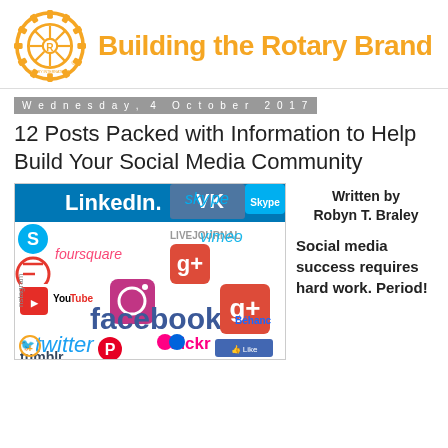[Figure (logo): Rotary International gear logo in gold/yellow with text 'Building the Rotary Brand' in orange]
Wednesday, 4 October 2017
12 Posts Packed with Information to Help Build Your Social Media Community
[Figure (illustration): Collage of social media logos including LinkedIn, VK, Skype, LiveJournal, Foursquare, Google+, vimeo, YouTube, Instagram, Facebook, Google+, Twitter, flickr, tumblr, Pinterest, Blogger, Behance, and Like button]
Written by Robyn T. Braley
Social media success requires hard work. Period!